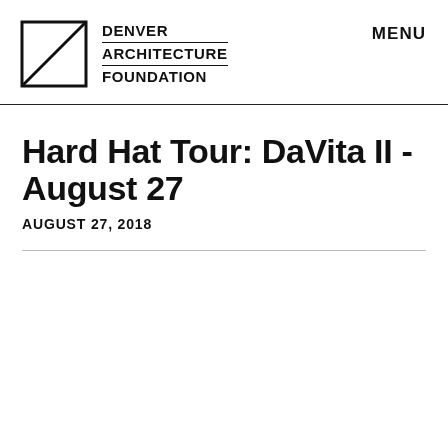Denver Architecture Foundation | MENU
Hard Hat Tour: DaVita II - August 27
AUGUST 27, 2018